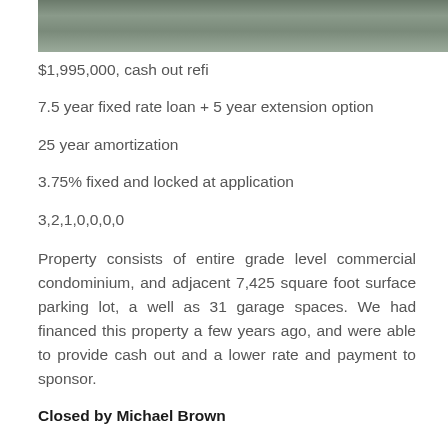[Figure (photo): Exterior photo of a commercial building with parked cars in the parking lot, partially visible at the top of the page]
$1,995,000, cash out refi
7.5 year fixed rate loan + 5 year extension option
25 year amortization
3.75% fixed and locked at application
3,2,1,0,0,0,0
Property consists of entire grade level commercial condominium, and adjacent 7,425 square foot surface parking lot, a well as 31 garage spaces. We had financed this property a few years ago, and were able to provide cash out and a lower rate and payment to sponsor.
Closed by Michael Brown